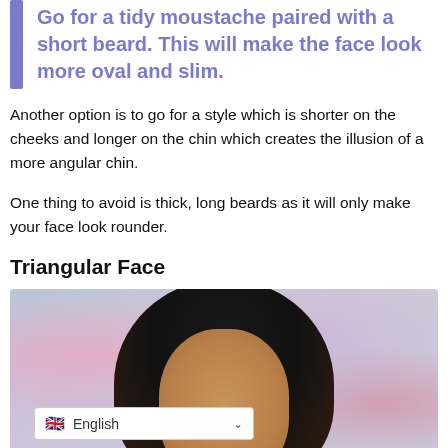Go for a tidy moustache paired with a short beard. This will make the face look more oval and slim.
Another option is to go for a style which is shorter on the cheeks and longer on the chin which creates the illusion of a more angular chin.
One thing to avoid is thick, long beards as it will only make your face look rounder.
Triangular Face
[Figure (photo): Photo of a man with dark hair and beard against a blurred colorful background with pink and purple bokeh circles]